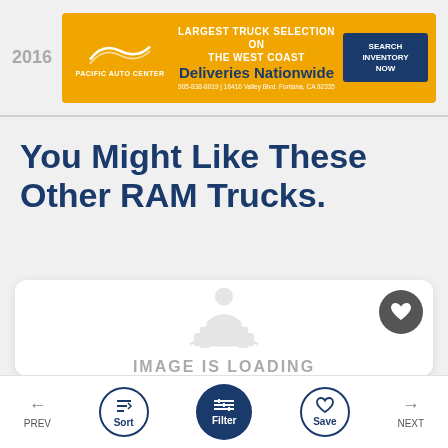[Figure (screenshot): Pacific Auto Center advertisement banner with orange background, logo with wave graphic, text 'LARGEST TRUCK SELECTION ON THE WEST COAST', 'Deliveries Nationwide', 'SEARCH INVENTORY NOW' button, phone and address details]
You Might Like These Other RAM Trucks.
[Figure (screenshot): Car listing card placeholder with grey image-loading icon (person with car) and text 'IMAGE IS LOADING', plus a grey heart/favorite button in top-right]
[Figure (screenshot): Bottom navigation bar with PREV arrow, Sort circle button, Filter active circle button (dark blue), Save circle button, NEXT arrow]